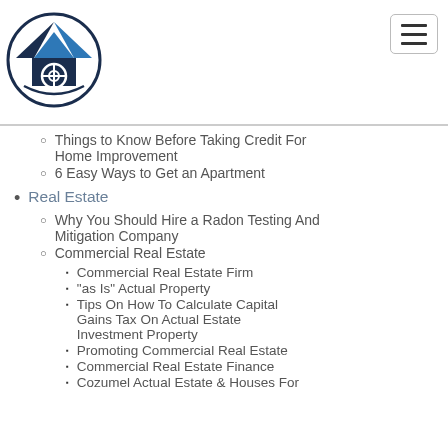[Figure (logo): Real estate website logo: house with roof/eye icon inside a circle, dark navy/blue colors]
Things to Know Before Taking Credit For Home Improvement
6 Easy Ways to Get an Apartment
Real Estate
Why You Should Hire a Radon Testing And Mitigation Company
Commercial Real Estate
Commercial Real Estate Firm
“as Is” Actual Property
Tips On How To Calculate Capital Gains Tax On Actual Estate Investment Property
Promoting Commercial Real Estate
Commercial Real Estate Finance
Cozumel Actual Estate & Houses For